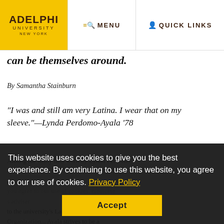Adelphi University New York | MENU | QUICK LINKS
can be themselves around.
By Samantha Stainburn
“I was and still am very Latina. I wear that on my sleeve.”—Lynda Perdomo-Ayala ’78
Among the many hats worn by Lynda Perdomo-[Ayala]... medicine ... s adviser to the university’s Latin-American Student Organization... Ayala strives to be a university official that Latino students—who make up just 8 percent of the Stony Brook University...
This website uses cookies to give you the best experience. By continuing to use this website, you agree to our use of cookies. Privacy Policy
Accept